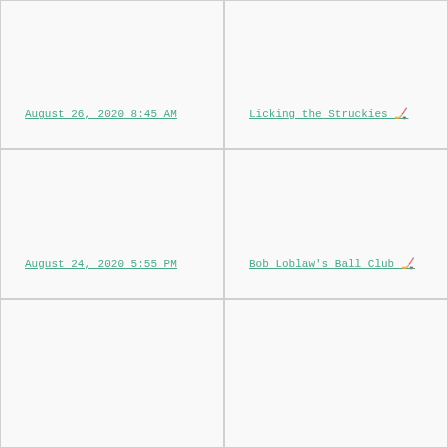August 26, 2020 8:45 AM
Licking the Struckies 🏒
August 24, 2020 5:55 PM
Bob Loblaw's Ball Club 🏒